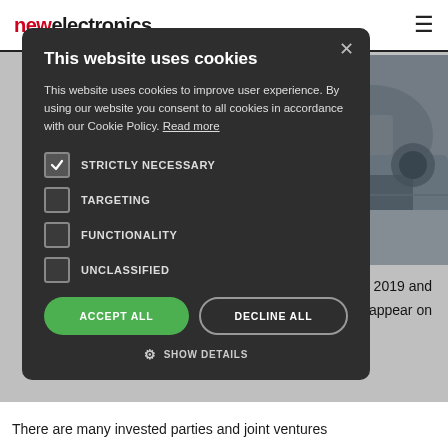new electronics
[Figure (screenshot): Cookie consent modal dialog on newelectronics website. Dark background modal with title 'This website uses cookies', body text about cookie policy, checkboxes for STRICTLY NECESSARY (checked), TARGETING, FUNCTIONALITY, UNCLASSIFIED, and buttons ACCEPT ALL (green) and DECLINE ALL (outlined), plus SHOW DETAILS link.]
2019 and appear on
There are many invested parties and joint ventures